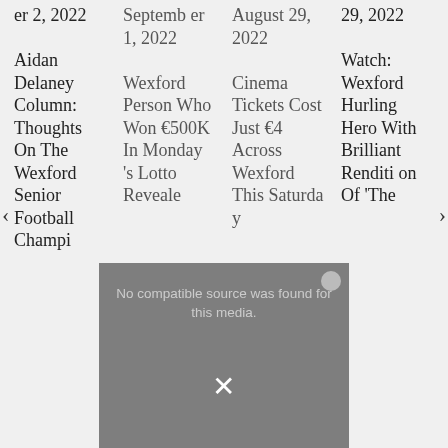er 2, 2022
Aidan Delaney Column: Thoughts On The Wexford Senior Football Champi
Septemb er 1, 2022
Wexford Person Who Won €500K In Monday's Lotto Reveale
August 29, 2022
Cinema Tickets Cost Just €4 Across Wexford This Saturday y
29, 2022
Watch: Wexford Hurling Hero With Brilliant Rendition Of 'The
[Figure (screenshot): Video player overlay showing 'No compatible source was found for this media.' error message with a close button and X dismiss icon]